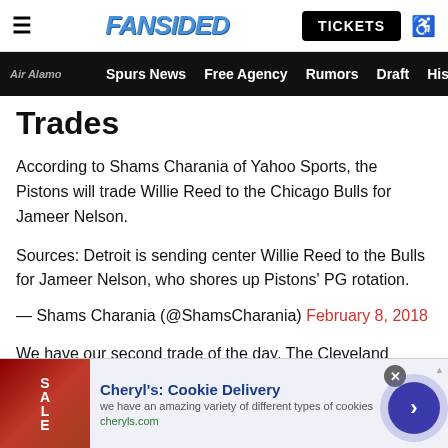FanSided | TICKETS
Air Alamo | Spurs News | Free Agency | Rumors | Draft | His
Trades
According to Shams Charania of Yahoo Sports, the Pistons will trade Willie Reed to the Chicago Bulls for Jameer Nelson.
Sources: Detroit is sending center Willie Reed to the Bulls for Jameer Nelson, who shores up Pistons' PG rotation.
— Shams Charania (@ShamsCharania) February 8, 2018
We have our second trade of the day. The Cleveland Cavaliers will acquire Jordan Clarkson and Larry Nance from the Lakers, according to Wojnarowski.
[Figure (screenshot): Advertisement banner for Cheryl's Cookie Delivery showing cookie image, title 'Cheryl's: Cookie Delivery', body text 'we have an amazing variety of different types of cookies', URL 'cheryls.com', with close button and navigation arrow.]